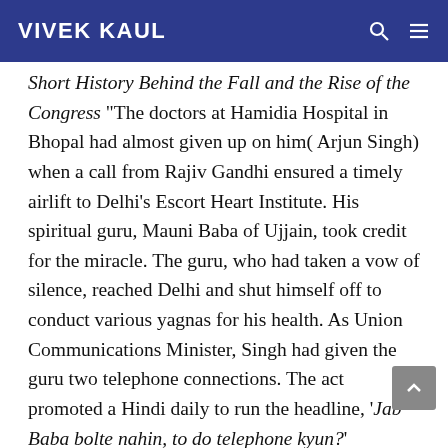VIVEK KAUL
Short History Behind the Fall and the Rise of the Congress “The doctors at Hamidia Hospital in Bhopal had almost given up on him( Arjun Singh) when a call from Rajiv Gandhi ensured a timely airlift to Delhi’s Escort Heart Institute. His spiritual guru, Mauni Baba of Ujjain, took credit for the miracle. The guru, who had taken a vow of silence, reached Delhi and shut himself off to conduct various yagnas for his health. As Union Communications Minister, Singh had given the guru two telephone connections. The act promoted a Hindi daily to run the headline, ‘Jab Baba bolte nahin, to do telephone kyun?’